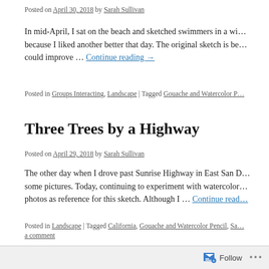Posted on April 30, 2018 by Sarah Sullivan
In mid-April, I sat on the beach and sketched swimmers in a wi… because I liked another better that day. The original sketch is be… could improve … Continue reading →
Posted in Groups Interacting, Landscape | Tagged Gouache and Watercolor P…
Three Trees by a Highway
Posted on April 29, 2018 by Sarah Sullivan
The other day when I drove past Sunrise Highway in East San D… some pictures. Today, continuing to experiment with watercolor… photos as reference for this sketch. Although I … Continue read…
Posted in Landscape | Tagged California, Gouache and Watercolor Pencil, Sa… a comment
Follow